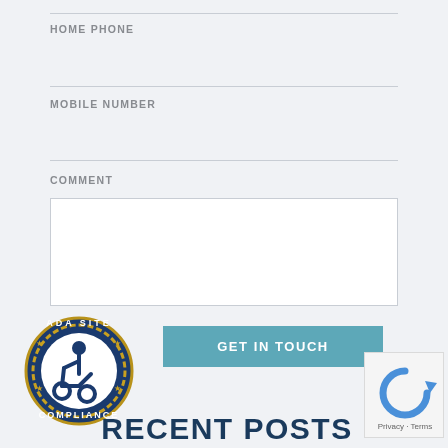HOME PHONE
MOBILE NUMBER
COMMENT
GET IN TOUCH
[Figure (logo): ADA Site Compliance badge with wheelchair accessibility icon]
RECENT POSTS
[Figure (screenshot): reCAPTCHA widget with Privacy and Terms links]